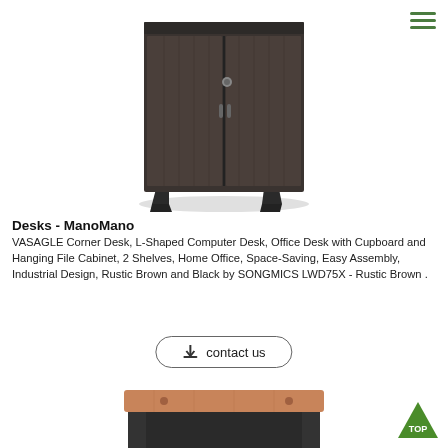[Figure (photo): Dark espresso/charcoal two-door storage cabinet with angled black metal legs and a small lock on the right door, photographed on white background]
Desks - ManoMano
VASAGLE Corner Desk, L-Shaped Computer Desk, Office Desk with Cupboard and Hanging File Cabinet, 2 Shelves, Home Office, Space-Saving, Easy Assembly, Industrial Design, Rustic Brown and Black by SONGMICS LWD75X - Rustic Brown .
[Figure (other): Contact us button with download icon and rounded border]
[Figure (photo): Office desk with cherry/light wood top surface and black lower frame, photographed on white background, partially visible at bottom of page]
[Figure (other): Green triangle TOP button in bottom right corner]